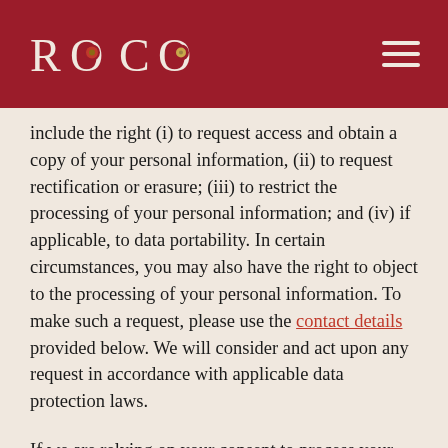ROCO
include the right (i) to request access and obtain a copy of your personal information, (ii) to request rectification or erasure; (iii) to restrict the processing of your personal information; and (iv) if applicable, to data portability. In certain circumstances, you may also have the right to object to the processing of your personal information. To make such a request, please use the contact details provided below. We will consider and act upon any request in accordance with applicable data protection laws.
If we are relying on your consent to process your personal information, you have the right to withdraw your consent at any time. Please note however that this will not affect the lawfulness of the processing before its withdrawal, nor will it affect the processing of your personal information conducted in reliance on lawful